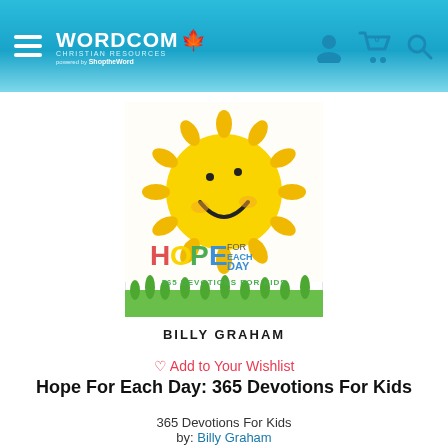Wordcom Christian Resources — powered by ShopTheWord
[Figure (photo): Book cover: Hope For Each Day – 365 Devotions For Kids by Billy Graham. Features a smiling cartoon sun on a white background with colorful title text and green grass at bottom.]
♡ Add to Your Wishlist
Hope For Each Day: 365 Devotions For Kids
365 Devotions For Kids
by: Billy Graham
$16.99 $21.00 (CAD)
Save 19% ($4.01)